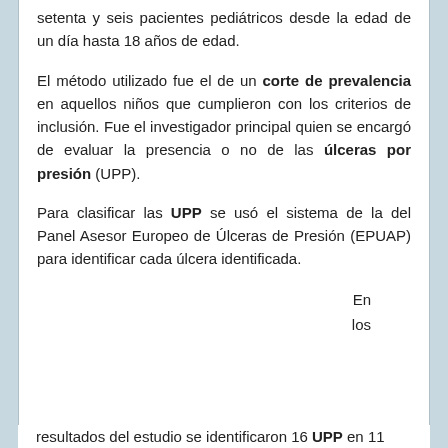setenta y seis pacientes pediátricos desde la edad de un día hasta 18 años de edad.
El método utilizado fue el de un corte de prevalencia en aquellos niños que cumplieron con los criterios de inclusión. Fue el investigador principal quien se encargó de evaluar la presencia o no de las úlceras por presión (UPP).
Para clasificar las UPP se usó el sistema de la del Panel Asesor Europeo de Úlceras de Presión (EPUAP) para identificar cada úlcera identificada.
En los
resultados del estudio se identificaron 16 UPP en 11